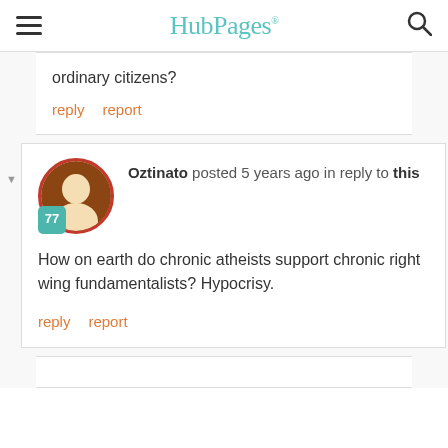HubPages
ordinary citizens?
reply   report
Oztinato posted 5 years ago in reply to this
How on earth do chronic atheists support chronic right wing fundamentalists? Hypocrisy.
reply   report